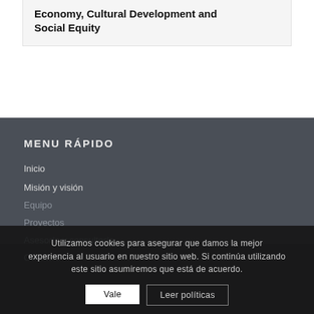Economy, Cultural Development and Social Equity
MENU RÁPIDO
Inicio
Misión y visión
Equipo
Proyectos
Asesoría y consultoría
Contacto
Utilizamos cookies para asegurar que damos la mejor experiencia al usuario en nuestro sitio web. Si continúa utilizando este sitio asumiremos que está de acuerdo.
Vale
Leer políticas